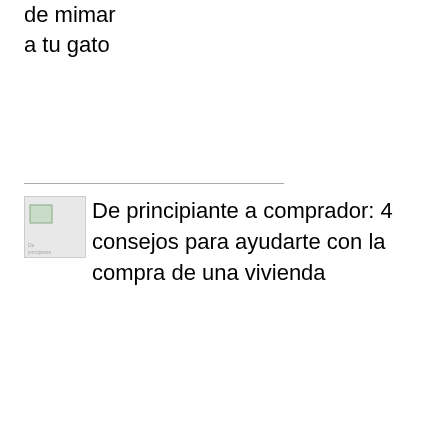de mimar
a tu gato
[Figure (illustration): Small thumbnail image placeholder labeled 'De principiante a comprador']
De principiante a comprador: 4 consejos para ayudarte con la compra de una vivienda